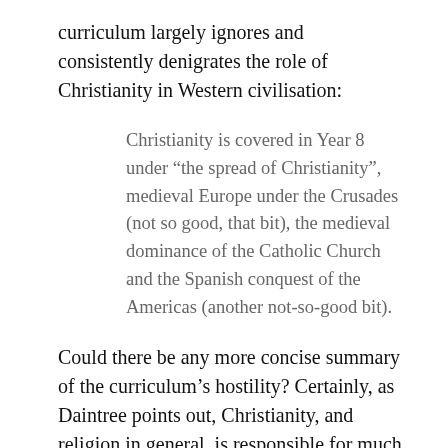curriculum largely ignores and consistently denigrates the role of Christianity in Western civilisation:
Christianity is covered in Year 8 under “the spread of Christianity”, medieval Europe under the Crusades (not so good, that bit), the medieval dominance of the Catholic Church and the Spanish conquest of the Americas (another not-so-good bit).
Could there be any more concise summary of the curriculum’s hostility? Certainly, as Daintree points out, Christianity, and religion in general, is responsible for much historical wrongs. But religion is responsible for much